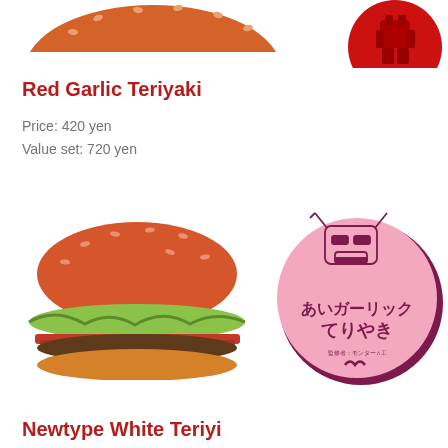[Figure (photo): Partial view of a red/orange burger bun top cropped at the top of the page]
[Figure (photo): Red circular badge with Gundam robot illustration, cropped at top-right]
Red Garlic Teriyaki
Price: 420 yen
Value set: 720 yen
[Figure (photo): Red Garlic Teriyaki burger with red bun, lettuce, and teriyaki patty]
[Figure (photo): Pink circular badge with Gundam robot head illustration and Japanese text reading あいガーリックてりやき (Ai Garlic Teriyaki) with McDonald's logo]
Newtype White Teriya